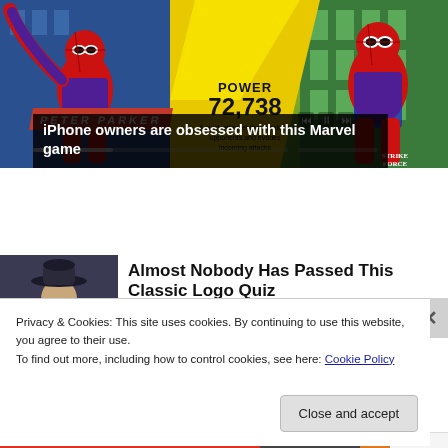[Figure (screenshot): Screenshot of a Marvel Strike Force mobile game showing Spider-Man characters (Peter Parker on left, classic Spider-Man on right) with a yellow background. Text overlay shows POWER 72,738 and description 'A quick attacker that weakens opponents and evades incoming attacks'. Media playback controls visible. 'Peter Parker' label in red diagonal banner.]
iPhone owners are obsessed with this Marvel game
[Figure (photo): Thumbnail image of a person wearing a cowboy hat]
Almost Nobody Has Passed This Classic Logo Quiz
Privacy & Cookies: This site uses cookies. By continuing to use this website, you agree to their use.
To find out more, including how to control cookies, see here: Cookie Policy
Close and accept